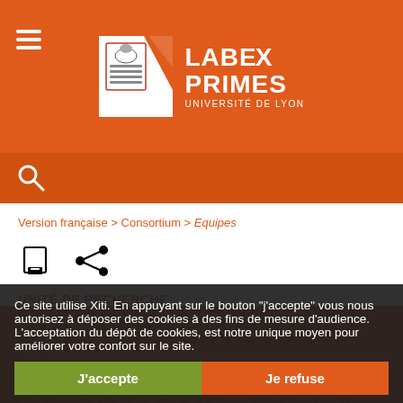[Figure (logo): Labex PRIMES logo with university crest and text LABEX PRIMES UNIVERSITÉ DE LYON on orange background]
Version française > Consortium > Equipes
[Figure (infographic): Print icon and share icon]
UNITÉ DE RECHERCHE
CREATIS-MAGICS: RMN ET OPTIQUE: DE LA MESURE AUX BIOMARQUEURS...
Ce site utilise Xiti. En appuyant sur le bouton "j'accepte" vous nous autorisez à déposer des cookies à des fins de mesure d'audience. L'acceptation du dépôt de cookies, est notre unique moyen pour améliorer votre confort sur le site.
J'accepte
Je refuse